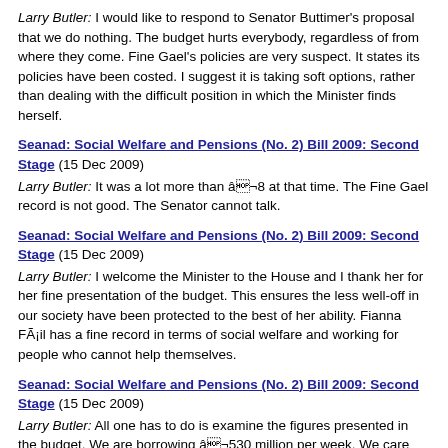Larry Butler: I would like to respond to Senator Buttimer's proposal that we do nothing. The budget hurts everybody, regardless of from where they come. Fine Gael's policies are very suspect. It states its policies have been costed. I suggest it is taking soft options, rather than dealing with the difficult position in which the Minister finds herself.
Seanad: Social Welfare and Pensions (No. 2) Bill 2009: Second Stage (15 Dec 2009)
Larry Butler: It was a lot more than â¬8 at that time. The Fine Gael record is not good. The Senator cannot talk.
Seanad: Social Welfare and Pensions (No. 2) Bill 2009: Second Stage (15 Dec 2009)
Larry Butler: I welcome the Minister to the House and I thank her for her fine presentation of the budget. This ensures the less well-off in our society have been protected to the best of her ability. Fianna Fáil has a fine record in terms of social welfare and working for people who cannot help themselves.
Seanad: Social Welfare and Pensions (No. 2) Bill 2009: Second Stage (15 Dec 2009)
Larry Butler: All one has to do is examine the figures presented in the budget. We are borrowing â¬530 million per week. We care about people but the problem is that we have run out of money.
Seanad: Social Welfare and Pensions (No. 2) Bill 2009: Second Stage